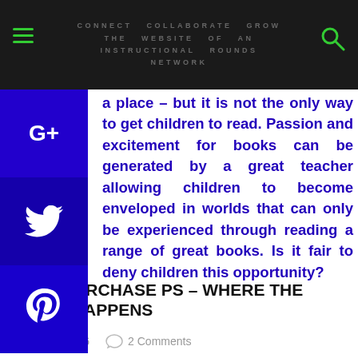CONNECT COLLABORATE GROW THE WEBSITE OF AN INSTRUCTIONAL ROUNDS NETWORK
a place – but it is not the only way to get children to read. Passion and excitement for books can be generated by a great teacher allowing children to become enveloped in worlds that can only be experienced through reading a range of great books. Is it fair to deny children this opportunity?
[Figure (infographic): Social share buttons: Google+, Twitter, Pinterest on left sidebar]
[Figure (infographic): Like 0 and Tweet share buttons]
JOHN PURCHASE PS – WHERE THE MAGIC HAPPENS
11/15/2016    2 Comments